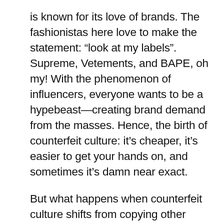is known for its love of brands. The fashionistas here love to make the statement: “look at my labels”. Supreme, Vetements, and BAPE, oh my! With the phenomenon of influencers, everyone wants to be a hypebeast—creating brand demand from the masses. Hence, the birth of counterfeit culture: it’s cheaper, it’s easier to get your hands on, and sometimes it’s damn near exact.
But what happens when counterfeit culture shifts from copying other brands to creating its own designs and labels? We speak to the lead designer of Berak, an Indonesian